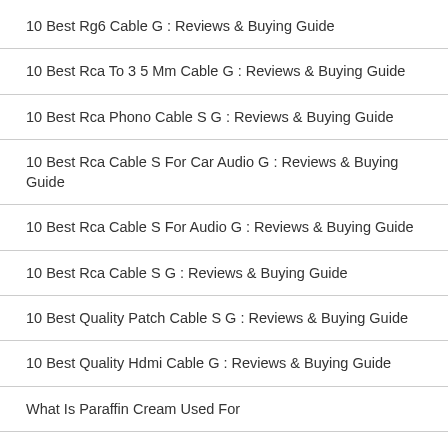10 Best Rg6 Cable G : Reviews & Buying Guide
10 Best Rca To 3 5 Mm Cable G : Reviews & Buying Guide
10 Best Rca Phono Cable S G : Reviews & Buying Guide
10 Best Rca Cable S For Car Audio G : Reviews & Buying Guide
10 Best Rca Cable S For Audio G : Reviews & Buying Guide
10 Best Rca Cable S G : Reviews & Buying Guide
10 Best Quality Patch Cable S G : Reviews & Buying Guide
10 Best Quality Hdmi Cable G : Reviews & Buying Guide
What Is Paraffin Cream Used For